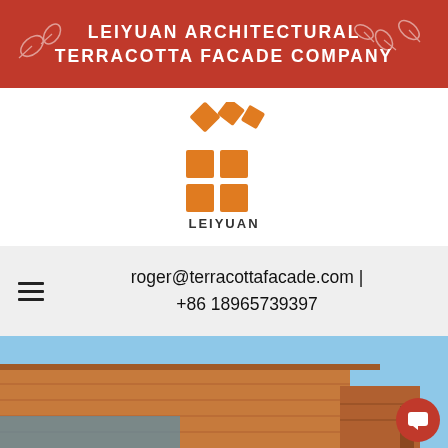LEIYUAN ARCHITECTURAL TERRACOTTA FACADE COMPANY
[Figure (logo): Leiyuan company logo: orange diamond and square tile shapes arranged in a pattern above the text LEIYUAN]
roger@terracottafacade.com | +86 18965739397
[Figure (photo): Exterior photo of a modern building clad in terracotta facade panels with blue sky background and a red circular chat button overlay]